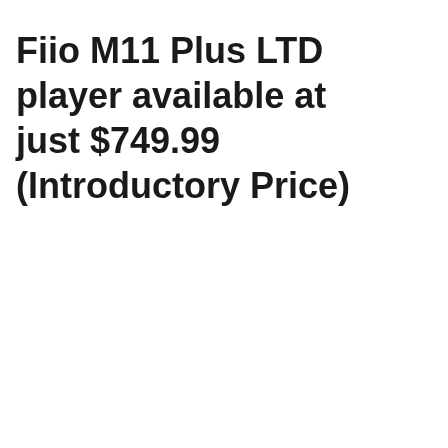Fiio M11 Plus LTD player available at just $749.99 (Introductory Price)